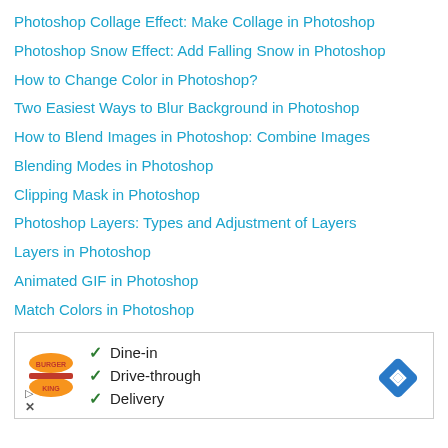Photoshop Collage Effect: Make Collage in Photoshop
Photoshop Snow Effect: Add Falling Snow in Photoshop
How to Change Color in Photoshop?
Two Easiest Ways to Blur Background in Photoshop
How to Blend Images in Photoshop: Combine Images
Blending Modes in Photoshop
Clipping Mask in Photoshop
Photoshop Layers: Types and Adjustment of Layers
Layers in Photoshop
Animated GIF in Photoshop
Match Colors in Photoshop
[Figure (other): Advertisement banner for Burger King showing logo with checkmarks for Dine-in, Drive-through, and Delivery options, with a navigation arrow icon.]